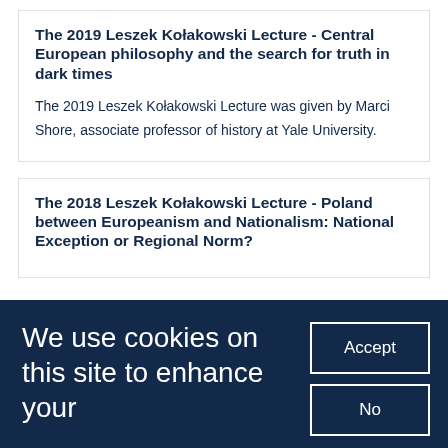The 2019 Leszek Kołakowski Lecture - Central European philosophy and the search for truth in dark times
The 2019 Leszek Kołakowski Lecture was given by Marci Shore, associate professor of history at Yale University.
The 2018 Leszek Kołakowski Lecture - Poland between Europeanism and Nationalism: National Exception or Regional Norm?
We use cookies on this site to enhance your